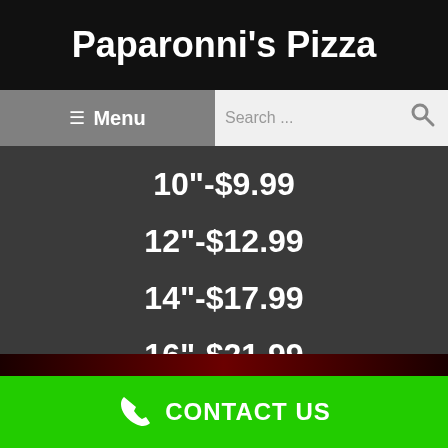Paparonni's Pizza
≡ Menu
Search ...
10"-$9.99
12"-$12.99
14"-$17.99
16"-$21.99
CONTACT US